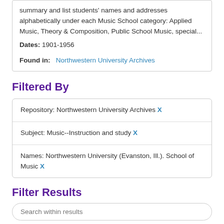summary and list students' names and addresses alphabetically under each Music School category: Applied Music, Theory & Composition, Public School Music, special...
Dates: 1901-1956
Found in: Northwestern University Archives
Filtered By
Repository: Northwestern University Archives X
Subject: Music--Instruction and study X
Names: Northwestern University (Evanston, Ill.). School of Music X
Filter Results
Search within results